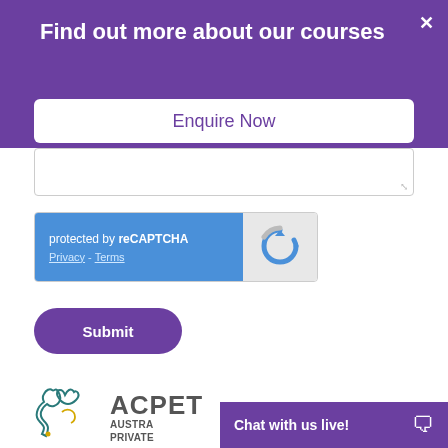Find out more about our courses
Enquire Now
[Figure (screenshot): reCAPTCHA widget showing 'protected by reCAPTCHA' with Privacy and Terms links on blue background, and reCAPTCHA logo on grey background]
Submit
[Figure (logo): ACPET - Australian Private Education and Training logo with teal and yellow outline of Australia map]
Chat with us live!